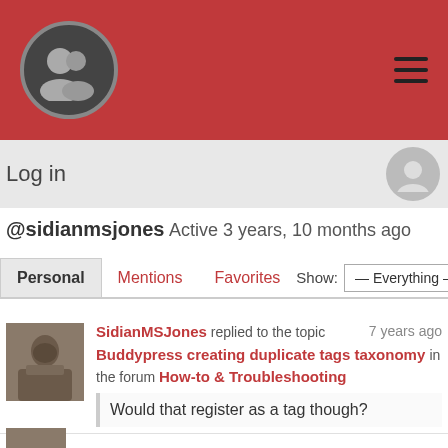[Figure (logo): Red header bar with circular user group logo icon on left and hamburger menu icon on right]
Log in
@sidianmsjones Active 3 years, 10 months ago
Personal | Mentions | Favorites   Show: — Everything —
SidianMSJones replied to the topic Buddypress creating duplicate tags taxonomy in the forum How-to & Troubleshooting  7 years ago
Would that register as a tag though?
[Figure (photo): Partial second activity avatar at bottom]